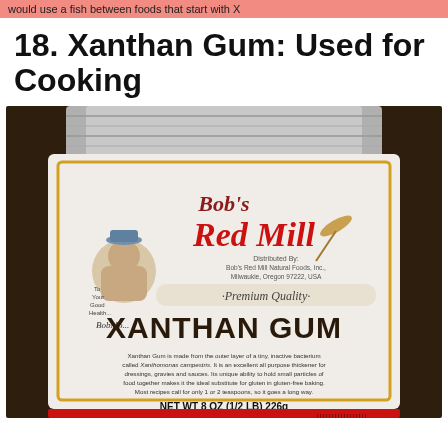would use a fish between foods that start with X
18. Xanthan Gum: Used for Cooking
[Figure (photo): A package of Bob's Red Mill Premium Quality Xanthan Gum. The white bag shows the Bob's Red Mill logo with a portrait of Bob Moore. Label reads: 'Premium Quality XANTHAN GUM'. Description text: 'Xanthan Gum is made from the outer layer of a tiny, inactive bacterium called Xanthomonas campestris. It is an excellent all purpose thickener for dressings, gravies and sauces. Its unique ability to hold small particles of food together makes it the ideal substitute for gluten in gluten-free baking. Most recipes call for only 1 or 2 teaspoons, so it goes a long way.' Net WT 8 OZ (1/2 LB) 226g]